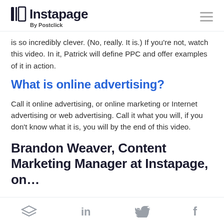Instapage By Postclick
is so incredibly clever. (No, really. It is.) If you're not, watch this video. In it, Patrick will define PPC and offer examples of it in action.
What is online advertising?
Call it online advertising, or online marketing or Internet advertising or web advertising. Call it what you will, if you don't know what it is, you will by the end of this video.
Brandon Weaver, Content Marketing Manager at Instapage, on...
Social share icons: layers, LinkedIn, Twitter, Facebook